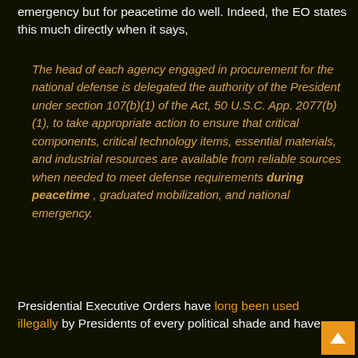emergency but for peacetime do well. Indeed, the EO states this much directly when it says,
The head of each agency engaged in procurement for the national defense is delegated the authority of the President under section 107(b)(1) of the Act, 50 U.S.C. App. 2077(b)(1), to take appropriate action to ensure that critical components, critical technology items, essential materials, and industrial resources are available from reliable sources when needed to meet defense requirements during peacetime , graduated mobilization, and national emergency.
Presidential Executive Orders have long been used illegally by Presidents of every political shade and have